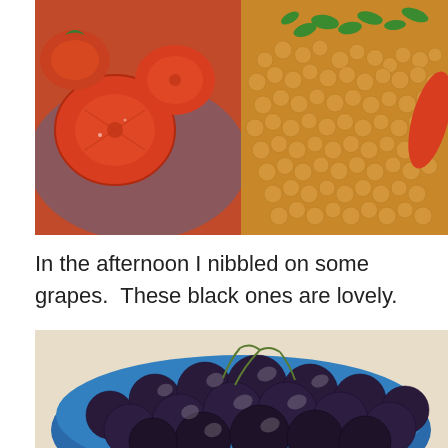[Figure (photo): Food photo showing two side-by-side images: left side has sliced red tomatoes on a decorative blue-patterned plate, right side has roasted chickpeas with fresh parsley garnish and tomato wedges]
In the afternoon I nibbled on some grapes.  These black ones are lovely.
[Figure (photo): Close-up photo of dark black/purple grapes in a blue ceramic bowl, shot from above on a light background]